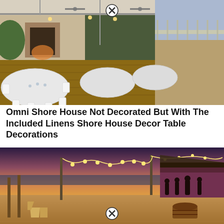[Figure (photo): Indoor/outdoor event venue (Shore House) set up for a formal dinner with round tables covered in white linens and white folding chairs. Ceiling fans, string lights, and exposed beams visible overhead. A wooden deck extends to the right with an ocean view.]
Omni Shore House Not Decorated But With The Included Linens Shore House Decor Table Decorations
[Figure (photo): Beachside venue at dusk/twilight with string lights strung between poles over a sandy beach area. A covered pavilion glowing with pink/purple lights is visible on the right with silhouettes of guests. Adirondack chairs and wooden barrels in the foreground.]